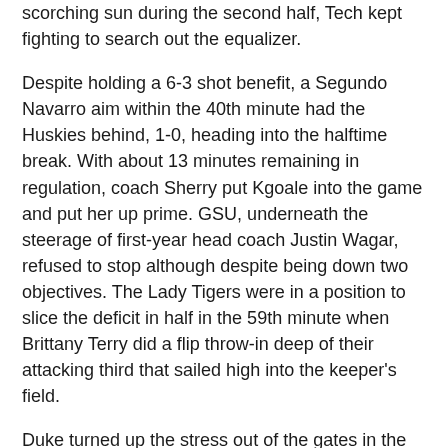scorching sun during the second half, Tech kept fighting to search out the equalizer.
Despite holding a 6-3 shot benefit, a Segundo Navarro aim within the 40th minute had the Huskies behind, 1-0, heading into the halftime break. With about 13 minutes remaining in regulation, coach Sherry put Kgoale into the game and put her up prime. GSU, underneath the steerage of first-year head coach Justin Wagar, refused to stop although despite being down two objectives. The Lady Tigers were in a position to slice the deficit in half in the 59th minute when Brittany Terry did a flip throw-in deep of their attacking third that sailed high into the keeper's field.
Duke turned up the stress out of the gates in the second half, reeling off seven shots and placing five on aim in the first 10 minutes of action. The Blue https://moesport.com/ufa700/ Devils completed the match with sixteen pictures to Tech's two, placing 10 on target. The Hokies did not get an attempt till the 58th minute, when Karlie Johnson put a shot on aim that was easily dealt with byBrooke Heinsohn. FDU dominated play in the second extra time, but a nook kick in the final minute did not hook up with an attacker in the box, leading to a draw after a hundred and ten minutes.